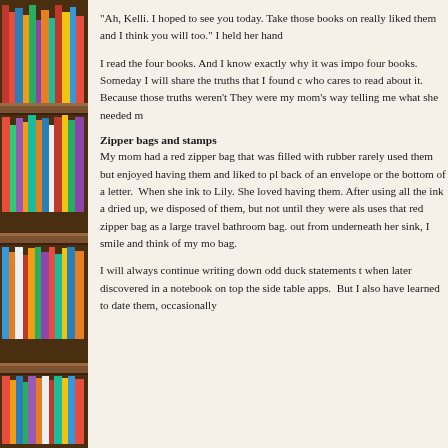[Figure (photo): A bookshelf filled with colorful books arranged vertically on wooden shelves, viewed from the side.]
"Ah, Kelli. I hoped to see you today. Take those books on really liked them and I think you will too." I held her hand
I read the four books. And I know exactly why it was impo four books.  Someday I will share the truths that I found c who cares to read about it. Because those truths weren't They were my mom's way telling me what she needed m
Zipper bags and stamps
My mom had a red zipper bag that was filled with rubber rarely used them but enjoyed having them and liked to pl back of an envelope or the bottom of a letter.  When she ink to Lily. She loved having them. After using all the ink a dried up, we disposed of them, but not until they were als uses that red zipper bag as a large travel bathroom bag. out from underneath her sink, I smile and think of my mo bag.
I will always continue writing down odd duck statements t when later discovered in a notebook on top the side table apps.  But I also have learned to date them, occasionally